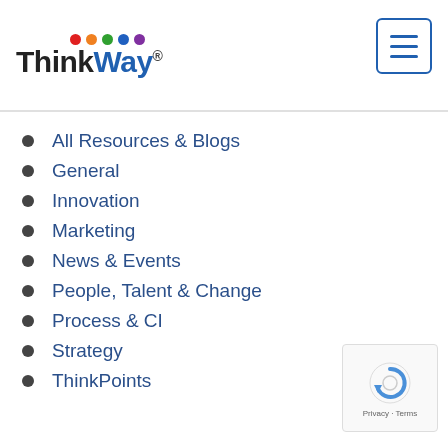ThinkWay
Categories
All Resources & Blogs
General
Innovation
Marketing
News & Events
People, Talent & Change
Process & CI
Strategy
ThinkPoints
[Figure (other): reCAPTCHA widget with Privacy and Terms text]